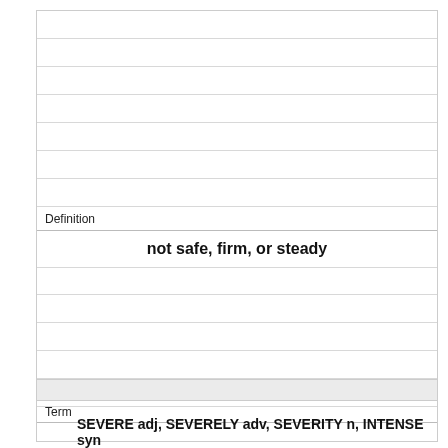Definition
not safe, firm, or steady
Term
SEVERE adj, SEVERELY adv, SEVERITY n, INTENSE syn